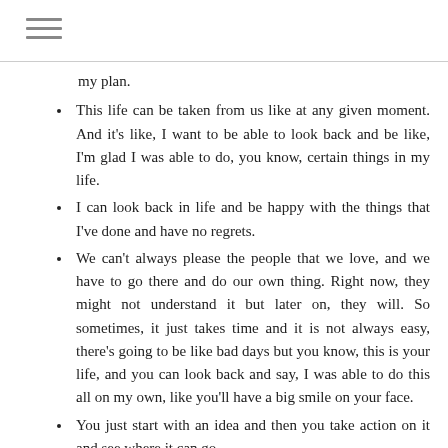my plan.
This life can be taken from us like at any given moment. And it's like, I want to be able to look back and be like, I'm glad I was able to do, you know, certain things in my life.
I can look back in life and be happy with the things that I've done and have no regrets.
We can't always please the people that we love, and we have to go there and do our own thing. Right now, they might not understand it but later on, they will. So sometimes, it just takes time and it is not always easy, there's going to be like bad days but you know, this is your life, and you can look back and say, I was able to do this all on my own, like you'll have a big smile on your face.
You just start with an idea and then you take action on it and see where it can go.